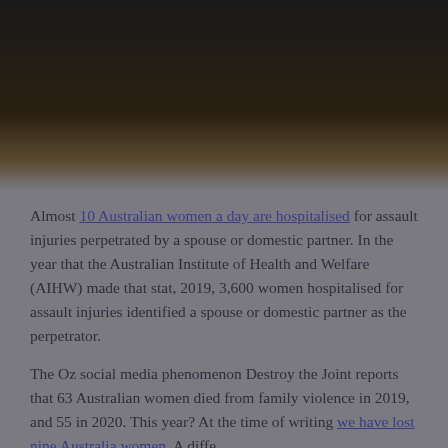[Figure (photo): Dark moody photograph, partially visible at top of page — appears to be a dimly lit interior scene with warm light in the center-bottom area fading into darkness.]
Almost 10 Australian women a day are hospitalised for assault injuries perpetrated by a spouse or domestic partner. In the year that the Australian Institute of Health and Welfare (AIHW) made that stat, 2019, 3,600 women hospitalised for assault injuries identified a spouse or domestic partner as the perpetrator.
The Oz social media phenomenon Destroy the Joint reports that 63 Australian women died from family violence in 2019, and 55 in 2020. This year? At the time of writing we have lost nine Australia women. A diffe...